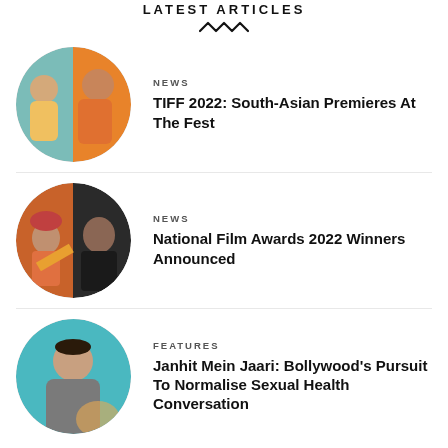LATEST ARTICLES
[Figure (photo): Circular collage image showing two women in colorful Indian attire]
NEWS
TIFF 2022: South-Asian Premieres At The Fest
[Figure (photo): Circular collage image showing actors in Indian film scenes, including a man in turban and a man in dark clothing]
NEWS
National Film Awards 2022 Winners Announced
[Figure (photo): Circular image of a woman in Indian attire against teal background]
FEATURES
Janhit Mein Jaari: Bollywood's Pursuit To Normalise Sexual Health Conversation